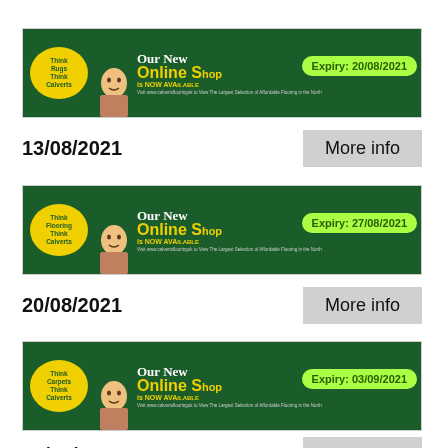[Figure (screenshot): Calverts flooring advertisement banner: 'Think Rugs Think Calverts' yellow bubble, woman's face, 'Our Online Shop is NOW AVAILABLE' text, with green expiry badge 'Expiry: 20/08/2021']
13/08/2021
More info
[Figure (screenshot): Calverts flooring advertisement banner: 'Think Flooring Think Calverts' yellow bubble, woman's face, 'Our Online Shop is NOW AVAILABLE' text, with green expiry badge 'Expiry: 27/08/2021']
20/08/2021
More info
[Figure (screenshot): Calverts flooring advertisement banner: 'Think Carpets Think Calverts' yellow bubble, woman's face, 'Our Online Shop is NOW AVAILABLE' text, with green expiry badge 'Expiry: 03/09/2021']
27/08/2021
More info